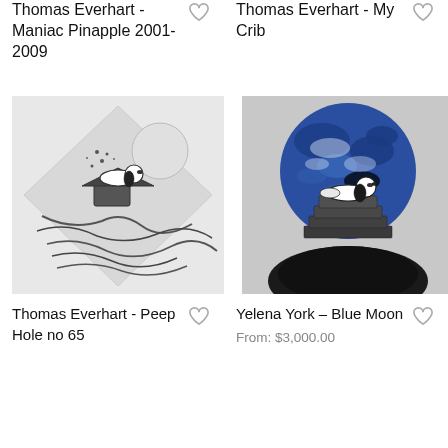Thomas Everhart - Maniac Pinapple 2001-2009
Thomas Everhart - My Crib
[Figure (illustration): Black and white ink drawing of Snoopy lying on his doghouse roof with abstract swirling lines and chaos below, diamond/shield shaped composition on light gray background]
[Figure (illustration): Color illustration of Snoopy lying on top of his doghouse with a large blue Earth globe behind him, black and white doghouse on dark mound]
Thomas Everhart - Peep Hole no 65
Yelena York – Blue Moon
From: $3,000.00